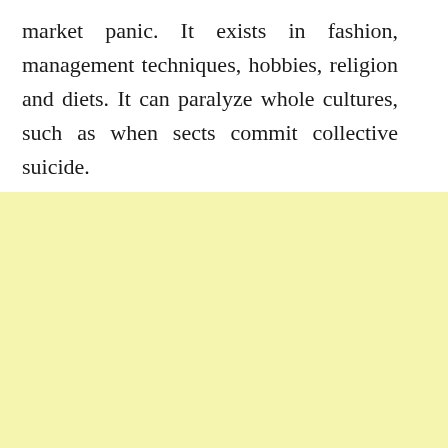market panic. It exists in fashion, management techniques, hobbies, religion and diets. It can paralyze whole cultures, such as when sects commit collective suicide.